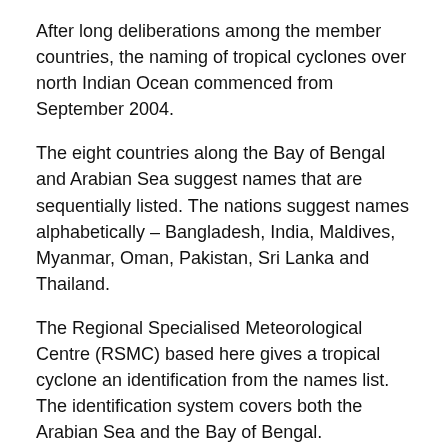After long deliberations among the member countries, the naming of tropical cyclones over north Indian Ocean commenced from September 2004.
The eight countries along the Bay of Bengal and Arabian Sea suggest names that are sequentially listed. The nations suggest names alphabetically – Bangladesh, India, Maldives, Myanmar, Oman, Pakistan, Sri Lanka and Thailand.
The Regional Specialised Meteorological Centre (RSMC) based here gives a tropical cyclone an identification from the names list. The identification system covers both the Arabian Sea and the Bay of Bengal.
So, for instance, Bangladesh suggested 'Onil' the first in the list. Onil originated in Arabian Sea, off the Gujarat coast between September to October 2004. It made landfall in the state, but impacted both India and Pakistan.